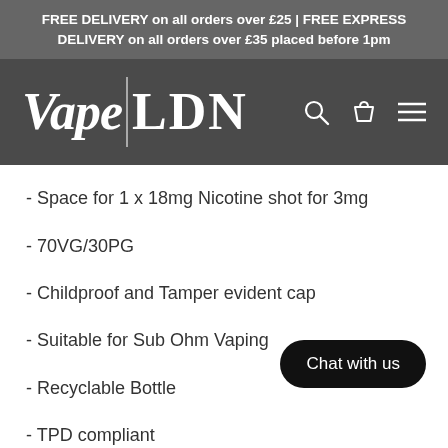FREE DELIVERY on all orders over £25 | FREE EXPRESS DELIVERY on all orders over £35 placed before 1pm
[Figure (logo): Vape LDN logo with script 'Vape' and serif 'LDN', plus search, cart, and menu icons]
- Space for 1 x 18mg Nicotine shot for 3mg
- 70VG/30PG
- Childproof and Tamper evident cap
- Suitable for Sub Ohm Vaping
- Recyclable Bottle
- TPD compliant